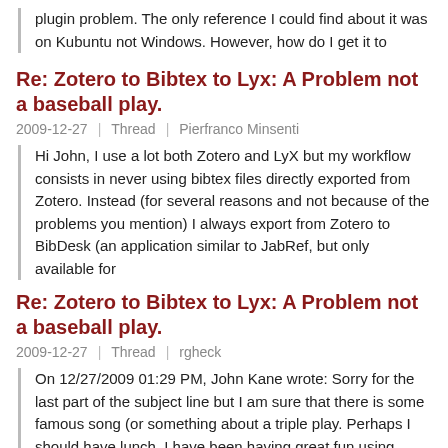plugin problem. The only reference I could find about it was on Kubuntu not Windows. However, how do I get it to
Re: Zotero to Bibtex to Lyx: A Problem not a baseball play.
2009-12-27  |  Thread  |  Pierfranco Minsenti
Hi John, I use a lot both Zotero and LyX but my workflow consists in never using bibtex files directly exported from Zotero. Instead (for several reasons and not because of the problems you mention) I always export from Zotero to BibDesk (an application similar to JabRef, but only available for
Re: Zotero to Bibtex to Lyx: A Problem not a baseball play.
2009-12-27  |  Thread  |  rgheck
On 12/27/2009 01:29 PM, John Kane wrote: Sorry for the last part of the subject line but I am sure that there is some famous song (or something about a triple play. Perhaps I should have lunch. I have been having great fun using Zotero to grab a lot of references lately and wanted to use the
RE: Zotero to Bibtex to Lyx: A Problem not a